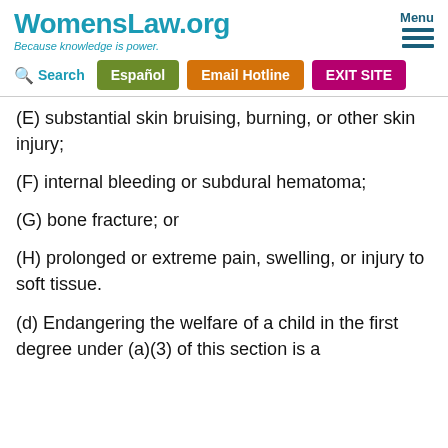WomensLaw.org — Because knowledge is power. Menu
(E) substantial skin bruising, burning, or other skin injury;
(F) internal bleeding or subdural hematoma;
(G) bone fracture; or
(H) prolonged or extreme pain, swelling, or injury to soft tissue.
(d) Endangering the welfare of a child in the first degree under (a)(3) of this section is a